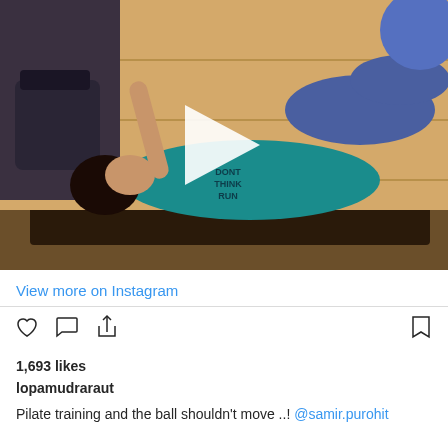[Figure (photo): Woman doing Pilate training on a reformer machine in a gym, wearing a teal top and blue leggings, with a play button overlay indicating a video post. A blue exercise ball is visible in the upper right.]
View more on Instagram
1,693 likes
lopamudraraut
Pilate training and the ball shouldn't move ..! @samir.purohit